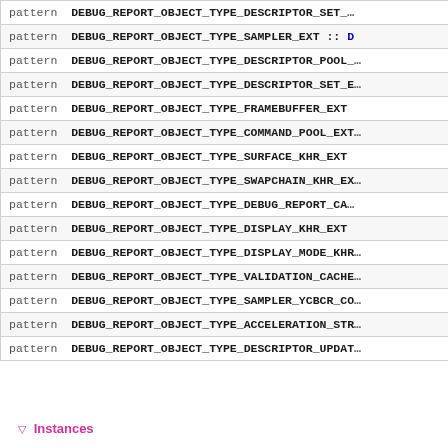| keyword | identifier |
| --- | --- |
| pattern | DEBUG_REPORT_OBJECT_TYPE_DESCRIPTOR_SET_… |
| pattern | DEBUG_REPORT_OBJECT_TYPE_SAMPLER_EXT :: D… |
| pattern | DEBUG_REPORT_OBJECT_TYPE_DESCRIPTOR_POOL_… |
| pattern | DEBUG_REPORT_OBJECT_TYPE_DESCRIPTOR_SET_E… |
| pattern | DEBUG_REPORT_OBJECT_TYPE_FRAMEBUFFER_EXT |
| pattern | DEBUG_REPORT_OBJECT_TYPE_COMMAND_POOL_EXT… |
| pattern | DEBUG_REPORT_OBJECT_TYPE_SURFACE_KHR_EXT |
| pattern | DEBUG_REPORT_OBJECT_TYPE_SWAPCHAIN_KHR_EX… |
| pattern | DEBUG_REPORT_OBJECT_TYPE_DEBUG_REPORT_CA… |
| pattern | DEBUG_REPORT_OBJECT_TYPE_DISPLAY_KHR_EXT |
| pattern | DEBUG_REPORT_OBJECT_TYPE_DISPLAY_MODE_KHR… |
| pattern | DEBUG_REPORT_OBJECT_TYPE_VALIDATION_CACHE… |
| pattern | DEBUG_REPORT_OBJECT_TYPE_SAMPLER_YCBCR_CO… |
| pattern | DEBUG_REPORT_OBJECT_TYPE_ACCELERATION_STR… |
| pattern | DEBUG_REPORT_OBJECT_TYPE_DESCRIPTOR_UPDAT… |
▽ Instances